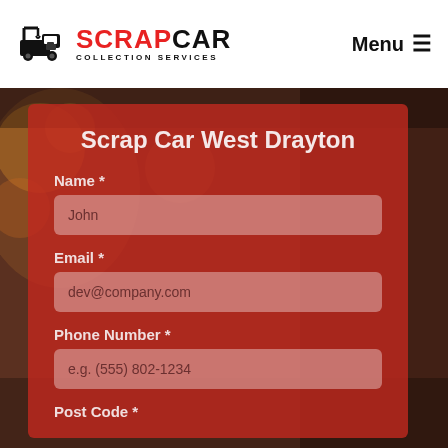[Figure (logo): Scrap Car Collection Services logo with tow truck icon and red/black text]
Menu ≡
[Figure (photo): Background photo of a woman with bokeh lights, overlaid with a dark orange/brown tone]
Scrap Car West Drayton
Name *
John
Email *
dev@company.com
Phone Number *
e.g. (555) 802-1234
Post Code *